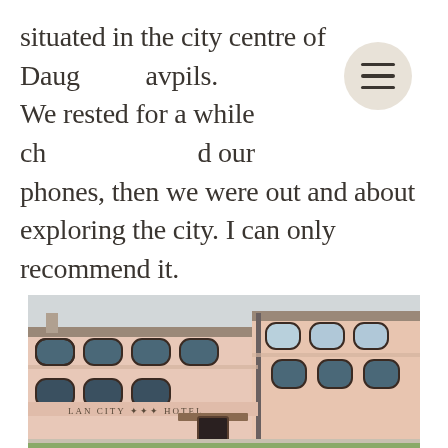...situated in the city centre of Daugavpils. We rested for a while charging our phones, then we were out and about exploring the city. I can only recommend it.
[Figure (photo): Exterior photograph of a salmon/pink-coloured two-storey historic building with dark arched windows, showing signage reading 'LAN CITY *** HOTEL' with a front entrance canopy and green lawn in the foreground.]